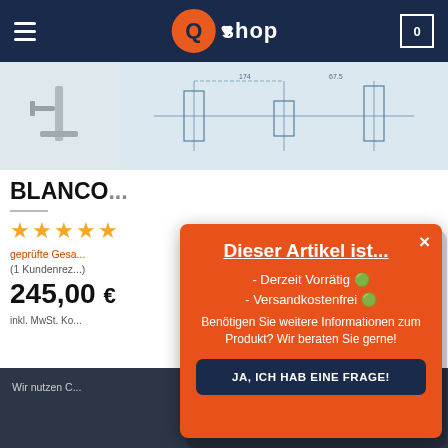Q shop
[Figure (screenshot): Product images strip showing faucet/tap product photos and technical drawing]
BLANCO...
★★★★★
geprüfte Gesamtbewertung
(1 Kundenrezension)
245,00 €
inkl. MwSt. Ko...
Wir nutzen C...
[Figure (screenshot): Orange modal popup dialog overlaying the product page]
Dieser Artikel ist...
- Derzeit Vorrätig 🟢
- Versandkostenfrei 🟢
Benötigen Sie weitere Informationen zum Produkt? Wir beraten Sie gerne!
JA, ICH HAB EINE FRAGE!